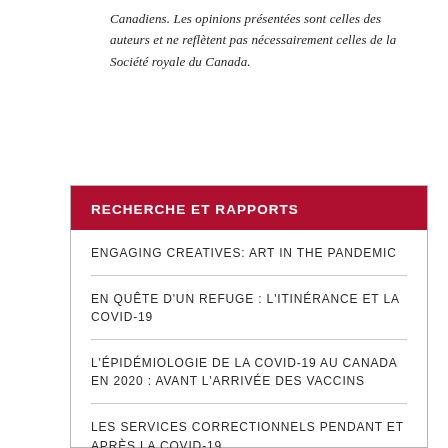Canadiens. Les opinions présentées sont celles des auteurs et ne reflètent pas nécessairement celles de la Société royale du Canada.
RECHERCHE ET RAPPORTS
ENGAGING CREATIVES: ART IN THE PANDEMIC
EN QUÊTE D'UN REFUGE : L'ITINÉRANCE ET LA COVID-19
L'ÉPIDÉMIOLOGIE DE LA COVID-19 AU CANADA EN 2020 : AVANT L'ARRIVÉE DES VACCINS
LES SERVICES CORRECTIONNELS PENDANT ET APRÈS LA COVID-19